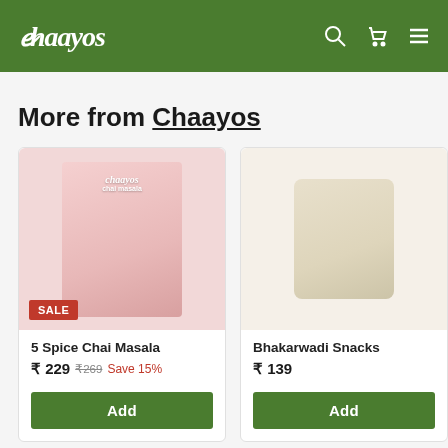Chaayos
More from Chaayos
[Figure (photo): Product image of 5 Spice Chai Masala in pink packaging with Chaayos logo. Has a SALE badge.]
5 Spice Chai Masala
₹ 229  ₹269  Save 15%
[Figure (photo): Product image of Bhakarwadi Snacks in beige/tan packaging.]
Bhakarwadi Snacks
₹ 139
[Figure (photo): Partially visible third product - Chaayos Rakhi gift item. Shows SOLD OUT label.]
Chaayos Rakhi
₹ 2,4